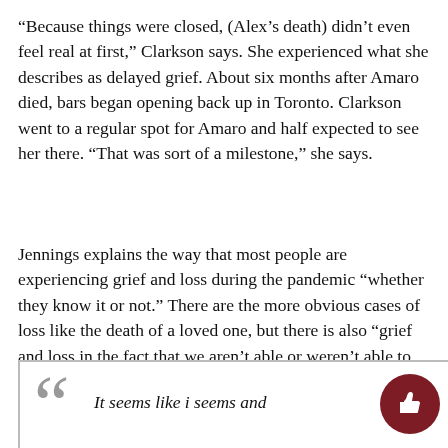“Because things were closed, (Alex’s death) didn’t even feel real at first,” Clarkson says. She experienced what she describes as delayed grief. About six months after Amaro died, bars began opening back up in Toronto. Clarkson went to a regular spot for Amaro and half expected to see her there. “That was sort of a milestone,” she says.
Jennings explains the way that most people are experiencing grief and loss during the pandemic “whether they know it or not.” There are the more obvious cases of loss like the death of a loved one, but there is also “grief and loss in the fact that we aren’t able or weren’t able to celebrate our successes in the same way we were used to,” Jennings says.
[Figure (other): Partial pull quote box with large decorative quotation mark and beginning of italic text, with a dark red thumbs-up circular button in the lower right corner.]